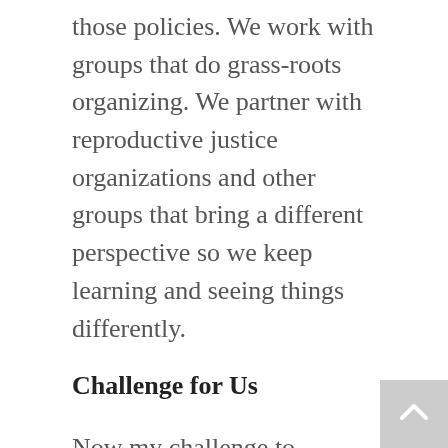those policies. We work with groups that do grass-roots organizing. We partner with reproductive justice organizations and other groups that bring a different perspective so we keep learning and seeing things differently.
Challenge for Us
Now my challenge to readers. Find something that you care enough about to dig deep and excel at, so you can make a difference. Then do a lot of listening and learning. Listen to different voices, including older people who have fought battles ahead of you and cleared some of the way, people your age whose life experiences are different from yours, and sometimes people you fundamentally disagree with. Those hard